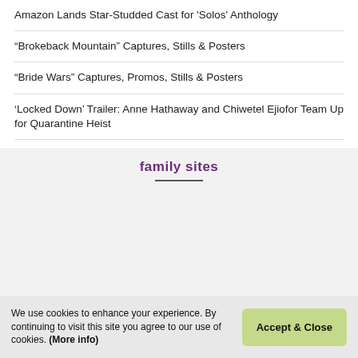Amazon Lands Star-Studded Cast for 'Solos' Anthology
“Brokeback Mountain” Captures, Stills & Posters
“Bride Wars” Captures, Promos, Stills & Posters
‘Locked Down’ Trailer: Anne Hathaway and Chiwetel Ejiofor Team Up for Quarantine Heist
family sites
[Figure (other): Grid of 28 image placeholder icons in two rows of 13 plus 2, representing family site logos]
We use cookies to enhance your experience. By continuing to visit this site you agree to our use of cookies. (More info)